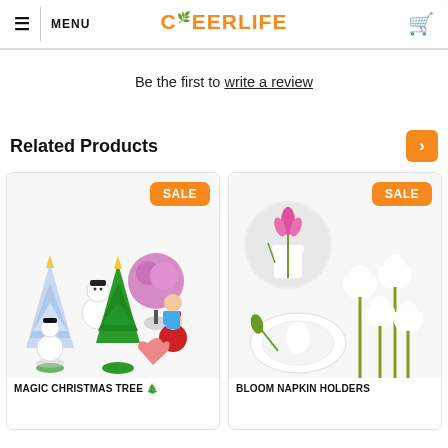MENU  CHEERLIFE
Be the first to write a review
Related Products
[Figure (photo): Magic Christmas Tree product photo showing various miniature Christmas trees, snowmen, heart and Santa figurines with a SALE badge]
MAGIC CHRISTMAS TREE 🎄
[Figure (photo): Bloom Napkin Holders product photo showing flower-shaped white napkin holders and pink tulips in a vase with a SALE badge]
BLOOM NAPKIN HOLDERS